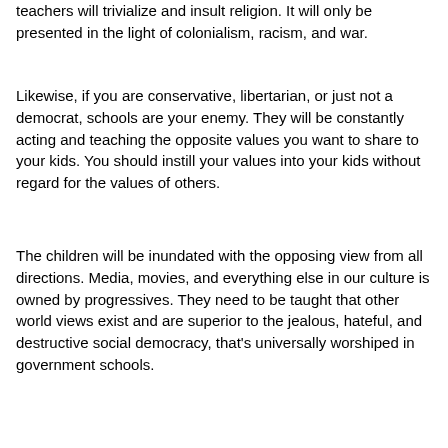teachers will trivialize and insult religion. It will only be presented in the light of colonialism, racism, and war.
Likewise, if you are conservative, libertarian, or just not a democrat, schools are your enemy. They will be constantly acting and teaching the opposite values you want to share to your kids. You should instill your values into your kids without regard for the values of others.
The children will be inundated with the opposing view from all directions. Media, movies, and everything else in our culture is owned by progressives. They need to be taught that other world views exist and are superior to the jealous, hateful, and destructive social democracy, that's universally worshiped in government schools.